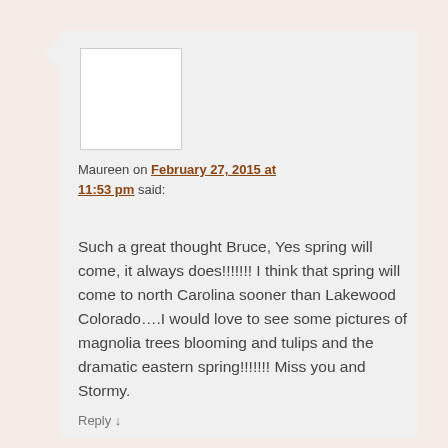[Figure (other): Avatar placeholder image (white rectangle)]
Maureen on February 27, 2015 at 11:53 pm said:
Such a great thought Bruce, Yes spring will come, it always does!!!!!!! I think that spring will come to north Carolina sooner than Lakewood Colorado….I would love to see some pictures of magnolia trees blooming and tulips and the dramatic eastern spring!!!!!!! Miss you and Stormy.
Reply ↓